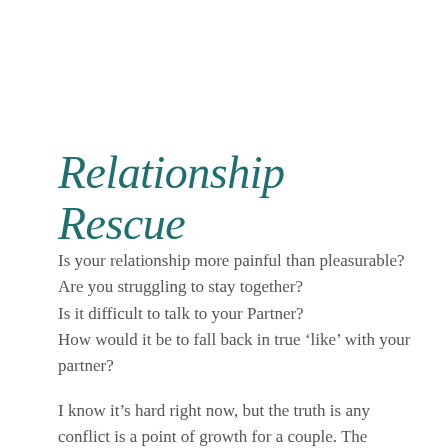Relationship Rescue
Is your relationship more painful than pleasurable? Are you struggling to stay together?
Is it difficult to talk to your Partner?
How would it be to fall back in true ‘like’ with your partner?
I know it’s hard right now, but the truth is any conflict is a point of growth for a couple. The measure of a lasting relationship is having the courage to grow through the conflict together.